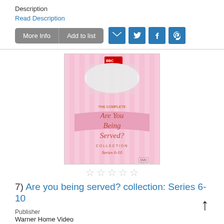Description
Read Description
[Figure (screenshot): Buttons: More Info and Add to list, plus social share icons for email, Twitter, Facebook, Pinterest]
[Figure (photo): DVD cover of 'Are You Being Served? The Complete Collection Series 6-10' with BBC Video logo and cast photo]
[Figure (other): Five empty star rating icons]
7) Are you being served? collection: Series 6-10
Publisher
Warner Home Video
Pub. Date